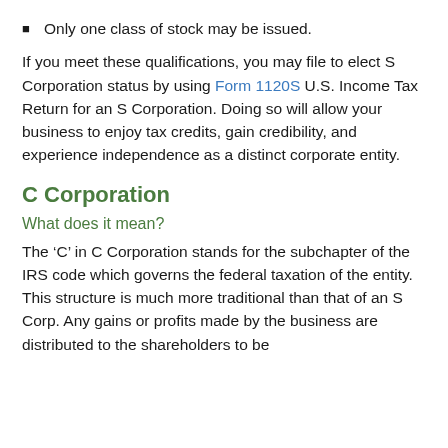Only one class of stock may be issued.
If you meet these qualifications, you may file to elect S Corporation status by using Form 1120S U.S. Income Tax Return for an S Corporation. Doing so will allow your business to enjoy tax credits, gain credibility, and experience independence as a distinct corporate entity.
C Corporation
What does it mean?
The ‘C’ in C Corporation stands for the subchapter of the IRS code which governs the federal taxation of the entity. This structure is much more traditional than that of an S Corp. Any gains or profits made by the business are distributed to the shareholders to be